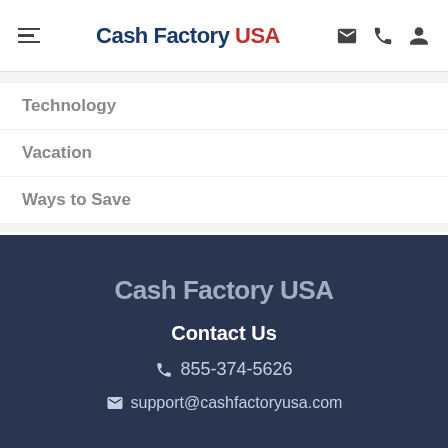Cash Factory USA
Technology
Vacation
Ways to Save
Cash Factory USA
Contact Us
855-374-5626
support@cashfactoryusa.com